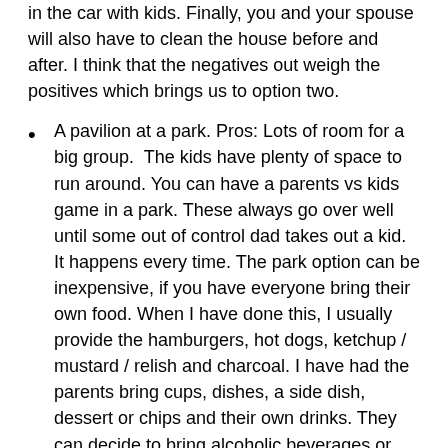in the car with kids. Finally, you and your spouse will also have to clean the house before and after. I think that the negatives out weigh the positives which brings us to option two.
A pavilion at a park. Pros: Lots of room for a big group.  The kids have plenty of space to run around. You can have a parents vs kids game in a park. These always go over well until some out of control dad takes out a kid. It happens every time. The park option can be inexpensive, if you have everyone bring their own food. When I have done this, I usually provide the hamburgers, hot dogs, ketchup / mustard / relish and charcoal. I have had the parents bring cups, dishes, a side dish, dessert or chips and their own drinks. They can decide to bring alcoholic beverages or not. Again, I would not buy and serve alcohol to parents who are going to be driving their kids home. Cons: This can be an expensive option if you foot the bill for the food and drinks.  The weather is unpredictable. You might need to coordinate